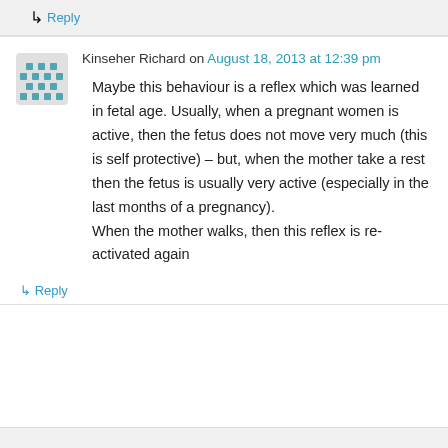↳ Reply
Kinseher Richard on August 18, 2013 at 12:39 pm
Maybe this behaviour is a reflex which was learned in fetal age. Usually, when a pregnant women is active, then the fetus does not move very much (this is self protective) – but, when the mother take a rest then the fetus is usually very active (especially in the last months of a pregnancy).
When the mother walks, then this reflex is re-activated again
↳ Reply